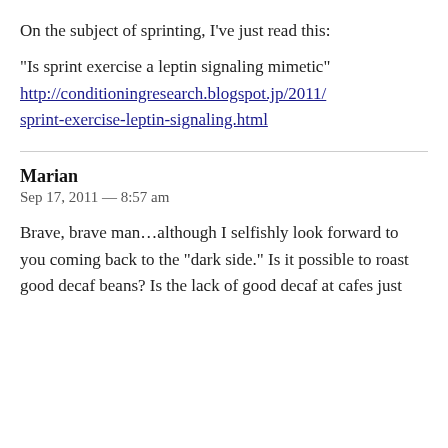On the subject of sprinting, I've just read this:
“Is sprint exercise a leptin signaling mimetic” http://conditioningresearch.blogspot.jp/2011/sprint-exercise-leptin-signaling.html
Marian
Sep 17, 2011 — 8:57 am
Brave, brave man…although I selfishly look forward to you coming back to the “dark side.” Is it possible to roast good decaf beans? Is the lack of good decaf at cafes just